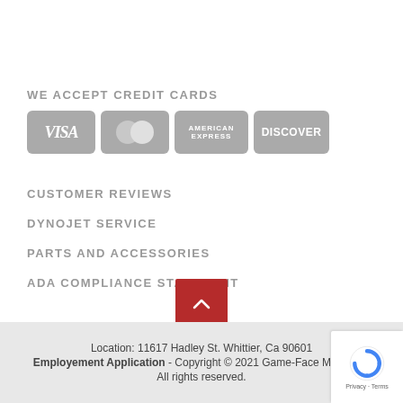WE ACCEPT CREDIT CARDS
[Figure (logo): Credit card logos: VISA, MasterCard, American Express, Discover displayed as grey badge icons]
CUSTOMER REVIEWS
DYNOJET SERVICE
PARTS AND ACCESSORIES
ADA COMPLIANCE STATEMENT
[Figure (other): Red square scroll-to-top button with upward chevron arrow]
Location: 11617 Hadley St. Whittier, Ca 90601   Employement Application - Copyright © 2021 Game-Face Motorsp...   All rights reserved.